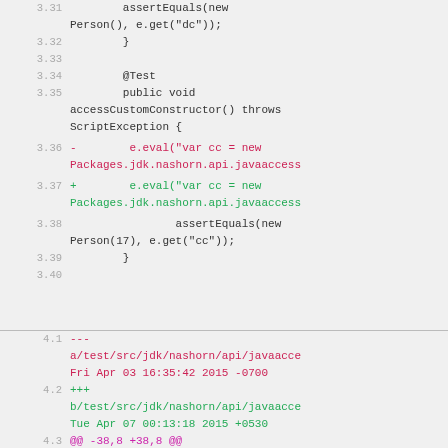Code diff view showing lines 3.31-3.40 and 4.1-4.7 of a Java test file with diff markings
[Figure (screenshot): Code diff showing two sections: upper section lines 3.31-3.40 with Java test code including assertEquals and accessCustomConstructor method with red (removed) and green (added) diff lines; lower section lines 4.1-4.7 showing file diff headers and comment lines with red and green markers]